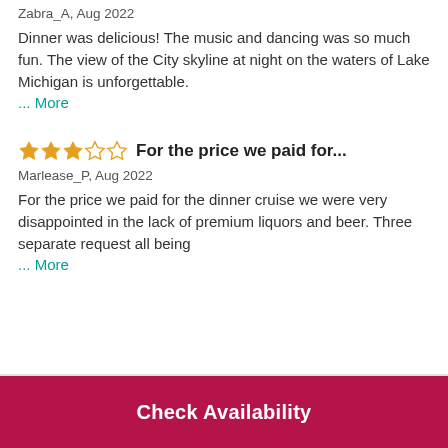Zabra_A, Aug 2022
Dinner was delicious! The music and dancing was so much fun. The view of the City skyline at night on the waters of Lake Michigan is unforgettable.
... More
For the price we paid for...
Marlease_P, Aug 2022
For the price we paid for the dinner cruise we were very disappointed in the lack of premium liquors and beer. Three separate request all being
... More
Check Availability